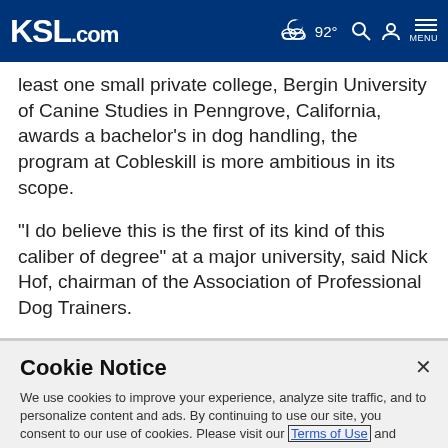KSL.com  92°  MENU
least one small private college, Bergin University of Canine Studies in Penngrove, California, awards a bachelor's in dog handling, the program at Cobleskill is more ambitious in its scope.
"I do believe this is the first of its kind of this caliber of degree" at a major university, said Nick Hof, chairman of the Association of Professional Dog Trainers.
Cookie Notice
We use cookies to improve your experience, analyze site traffic, and to personalize content and ads. By continuing to use our site, you consent to our use of cookies. Please visit our Terms of Use and Privacy Policy for more information.
Continue